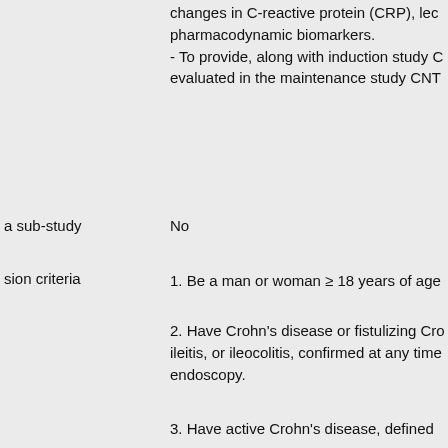changes in C-reactive protein (CRP), le... pharmacodynamic biomarkers.
- To provide, along with induction study C... evaluated in the maintenance study CNT...
a sub-study
sion criteria
No
1. Be a man or woman ≥ 18 years of age...
2. Have Crohn's disease or fistulizing Cr... ileitis, or ileocolitis, confirmed at any time... endoscopy.
3. Have active Crohn's disease, defined...
4. Have received infliximab, adalimumab... treatment of Crohn's disease and
a. Did not respond initially;
OR
b. Responded initially but then lost respo...
OR
c. Were intolerant to the medication.